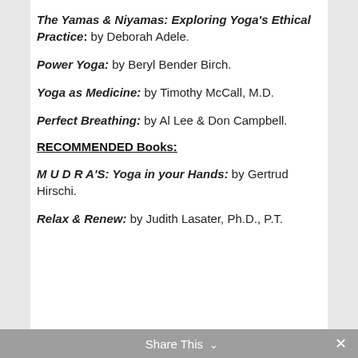The Yamas & Niyamas: Exploring Yoga's Ethical Practice: by Deborah Adele.
Power Yoga: by Beryl Bender Birch.
Yoga as Medicine: by Timothy McCall, M.D.
Perfect Breathing: by Al Lee & Don Campbell.
RECOMMENDED Books:
M U D R A'S: Yoga in your Hands: by Gertrud Hirschi.
Relax & Renew: by Judith Lasater, Ph.D., P.T.
Share This ∨  ✕